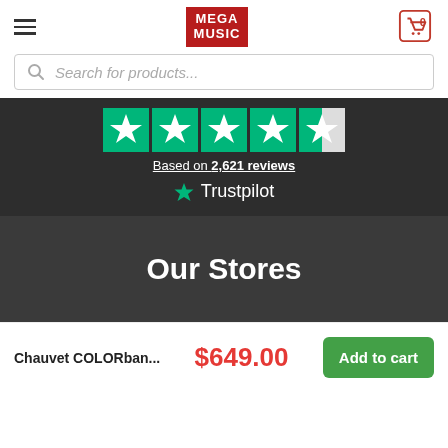[Figure (logo): Mega Music logo — red background with white bold text MEGA MUSIC]
Search for products...
[Figure (other): Trustpilot green star rating row (4.5 stars) and text: Based on 2,621 reviews, Trustpilot logo]
Our Stores
Chauvet COLORban...
$649.00
Add to cart